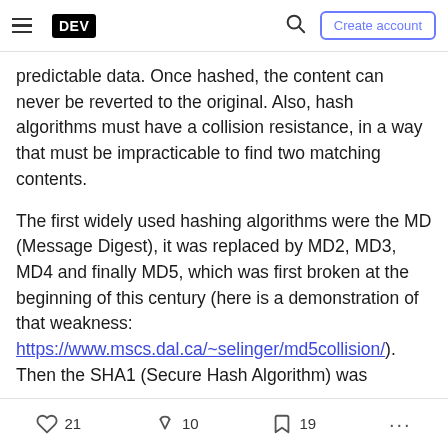DEV — Create account
predictable data. Once hashed, the content can never be reverted to the original. Also, hash algorithms must have a collision resistance, in a way that must be impracticable to find two matching contents.
The first widely used hashing algorithms were the MD (Message Digest), it was replaced by MD2, MD3, MD4 and finally MD5, which was first broken at the beginning of this century (here is a demonstration of that weakness: https://www.mscs.dal.ca/~selinger/md5collision/). Then the SHA1 (Secure Hash Algorithm) was
21  10  19  ...